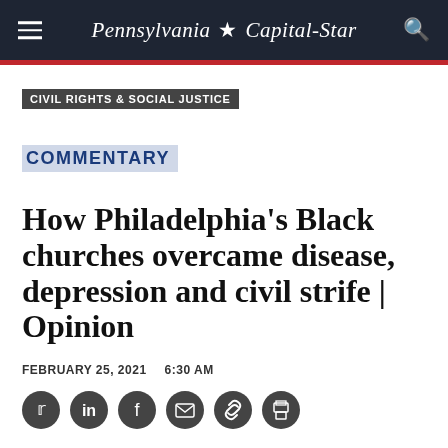Pennsylvania Capital-Star
CIVIL RIGHTS & SOCIAL JUSTICE
COMMENTARY
How Philadelphia's Black churches overcame disease, depression and civil strife | Opinion
FEBRUARY 25, 2021   6:30 AM